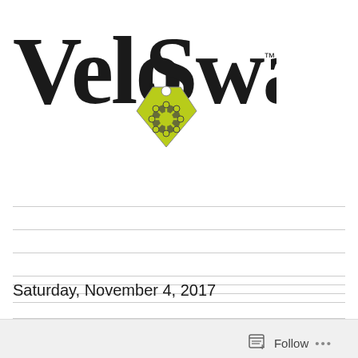[Figure (logo): VeloSwap logo with stylized black text and a yellow-green diamond/gem price tag icon with bicycle gear pattern]
Saturday, November 4, 2017
Follow ...